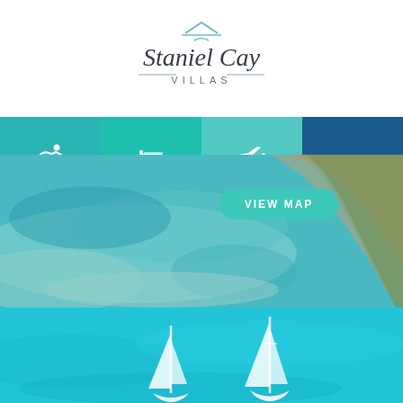[Figure (logo): Staniel Cay Villas logo with script text and small airplane/house icon above]
[Figure (infographic): Navigation bar with four sections: PLAY (teal, swimmer icon), STAY (teal, bed icon), PLAN (light teal, airplane icon), and hamburger menu (dark blue)]
VIEW MAP
[Figure (photo): Aerial view of Staniel Cay island with turquoise water, sandy beaches and vegetation]
[Figure (photo): Sailboats floating on bright turquoise water viewed from above]